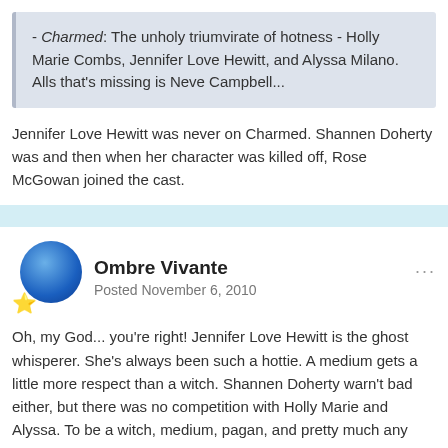- Charmed: The unholy triumvirate of hotness - Holly Marie Combs, Jennifer Love Hewitt, and Alyssa Milano. Alls that's missing is Neve Campbell...
Jennifer Love Hewitt was never on Charmed. Shannen Doherty was and then when her character was killed off, Rose McGowan joined the cast.
Ombre Vivante
Posted November 6, 2010
Oh, my God... you're right! Jennifer Love Hewitt is the ghost whisperer. She's always been such a hottie. A medium gets a little more respect than a witch. Shannen Doherty warn't bad either, but there was no competition with Holly Marie and Alyssa. To be a witch, medium, pagan, and pretty much any kind of evil hotness, it's pretty much de rigueur to be a brunette 😆